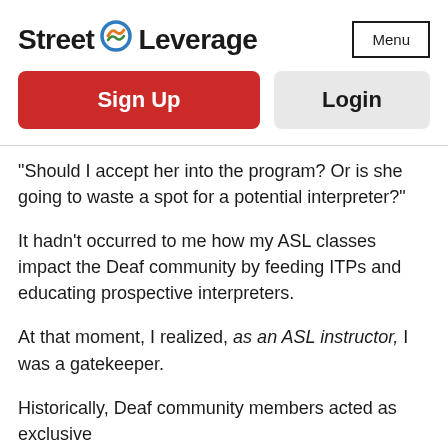[Figure (logo): Street Leverage logo with circular icon in blue and orange/green]
Menu
Sign Up
Login
“Should I accept her into the program? Or is she going to waste a spot for a potential interpreter?”
It hadn't occurred to me how my ASL classes impact the Deaf community by feeding ITPs and educating prospective interpreters.
At that moment, I realized, as an ASL instructor, I was a gatekeeper.
Historically, Deaf community members acted as exclusive